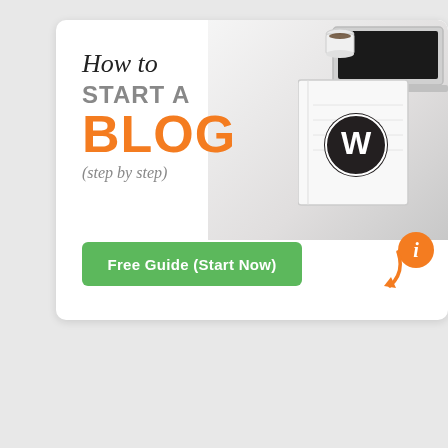[Figure (infographic): White card with desk background showing coffee cup, laptop, and WordPress notebook. Left side has text: 'How to START A BLOG (step by step)' with a green 'Free Guide (Start Now)' button and an orange arrow pointing to the button.]
[Figure (infographic): Purple/violet gradient banner with 5 icons (table, tools, WordPress, plug, window), title 'The Ultimate WordPress Toolkit', and text 'Get FREE access to our toolkit – a collection of']